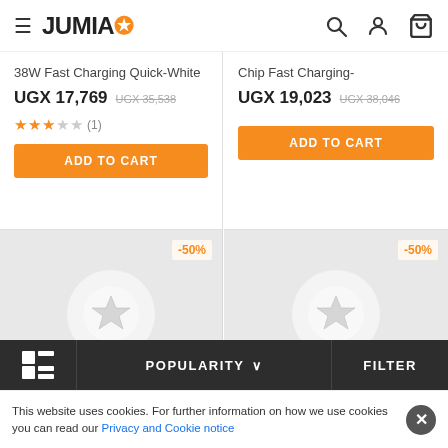JUMIA
38W Fast Charging Quick-White
UGX 17,769 UGX 35,538
★★★☆☆ (1)
ADD TO CART
Chip Fast Charging-
UGX 19,023 UGX 38,046
ADD TO CART
[Figure (other): Product placeholder image with star icon, -50% discount badge]
[Figure (other): Product placeholder image with star icon, -50% discount badge]
POPULARITY ∨  FILTER
This website uses cookies. For further information on how we use cookies you can read our Privacy and Cookie notice